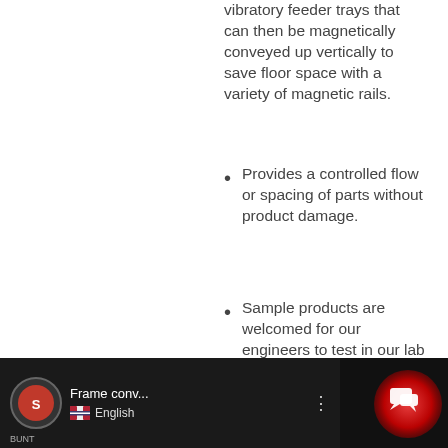vibratory feeder trays that can then be magnetically conveyed up vertically to save floor space with a variety of magnetic rails.
Provides a controlled flow or spacing of parts without product damage.
Sample products are welcomed for our engineers to test in our lab for the proper design for your application.
[Figure (screenshot): Video thumbnail showing a frame conveyor with English language selector and YouTube-style controls, including a red circular chat/message button overlay.]